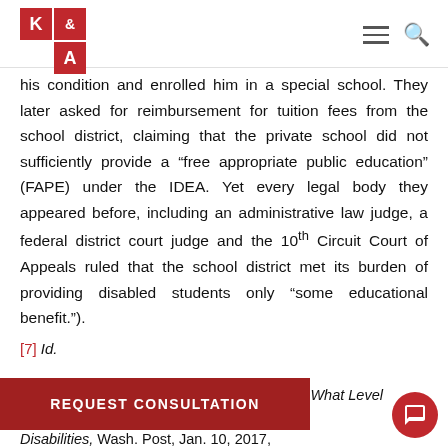K & A logo with navigation icons
his condition and enrolled him in a special school. They later asked for reimbursement for tuition fees from the school district, claiming that the private school did not sufficiently provide a “free appropriate public education” (FAPE) under the IDEA. Yet every legal body they appeared before, including an administrative law judge, a federal district court judge and the 10th Circuit Court of Appeals ruled that the school district met its burden of providing disabled students only “some educational benefit.”).
[7] Id.
[8] Emma Brown, Supreme Court To Decide: What Level of [Education Do Schools Owe to Students With Disabilities,] Wash. Post, Jan. 10, 2017,